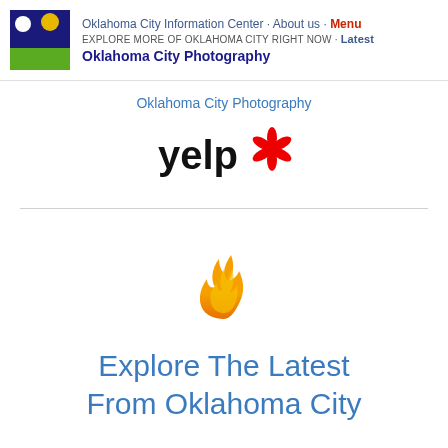Oklahoma City Information Center · About us · Menu
EXPLORE MORE OF OKLAHOMA CITY RIGHT NOW · Latest
Oklahoma City Photography
Oklahoma City Photography
[Figure (logo): Yelp logo with red asterisk burst]
[Figure (illustration): Orange flame emoji icon]
Explore The Latest From Oklahoma City